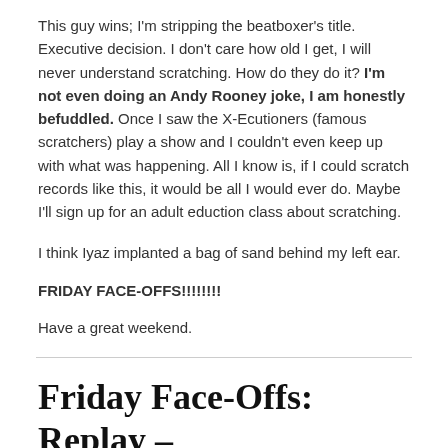This guy wins; I'm stripping the beatboxer's title. Executive decision. I don't care how old I get, I will never understand scratching. How do they do it? I'm not even doing an Andy Rooney joke, I am honestly befuddled. Once I saw the X-Ecutioners (famous scratchers) play a show and I couldn't even keep up with what was happening. All I know is, if I could scratch records like this, it would be all I would ever do. Maybe I'll sign up for an adult eduction class about scratching.
I think Iyaz implanted a bag of sand behind my left ear.
FRIDAY FACE-OFFS!!!!!!!!
Have a great weekend.
Friday Face-Offs: Replay – 2nd Place
2/11/11